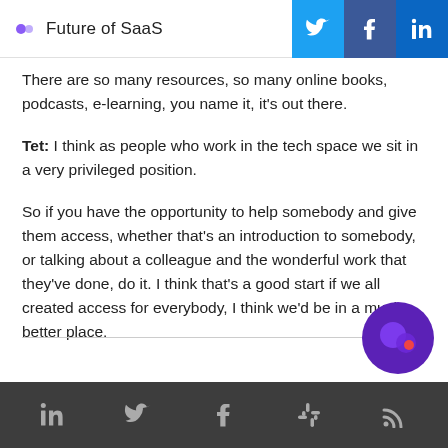Future of SaaS
There are so many resources, so many online books, podcasts, e-learning, you name it, it's out there.
Tet: I think as people who work in the tech space we sit in a very privileged position.
So if you have the opportunity to help somebody and give them access, whether that's an introduction to somebody, or talking about a colleague and the wonderful work that they've done, do it. I think that's a good start if we all created access for everybody, I think we'd be in a much better place.
LinkedIn | Twitter | Facebook | Slack | RSS